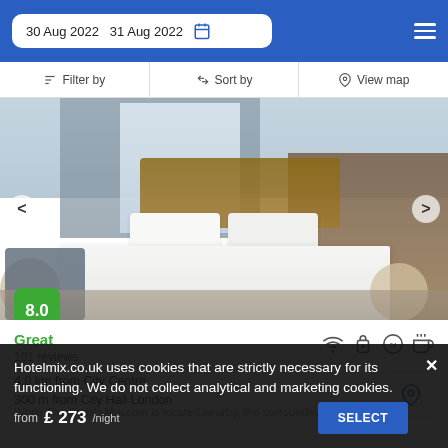30 Aug 2022  31 Aug 2022
Filter by  Sort by  View map
[Figure (photo): Hotel room photo showing a large bed with white linens, wooden headboard, seating area, and pendant lighting]
8.0
Great
101 reviews
4.0 km from City Centre
300 m from City Hall London
While The British Museum is located nearby, the surrounding area includes Tower Gateway subway station within 350
Hotelmix.co.uk uses cookies that are strictly necessary for its functioning. We do not collect analytical and marketing cookies.
£ 273/night  SELECT